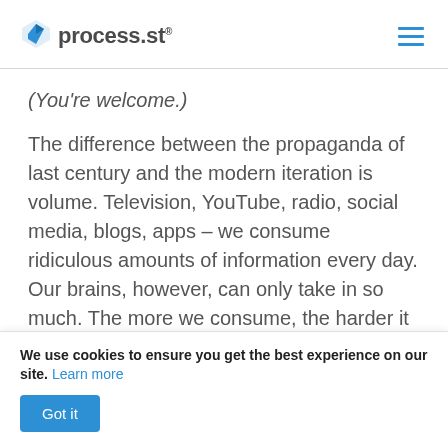process.st
(You're welcome.)
The difference between the propaganda of last century and the modern iteration is volume. Television, YouTube, radio, social media, blogs, apps – we consume ridiculous amounts of information every day. Our brains, however, can only take in so much. The more we consume, the harder it is to process; the harder it is to process,
We use cookies to ensure you get the best experience on our site. Learn more